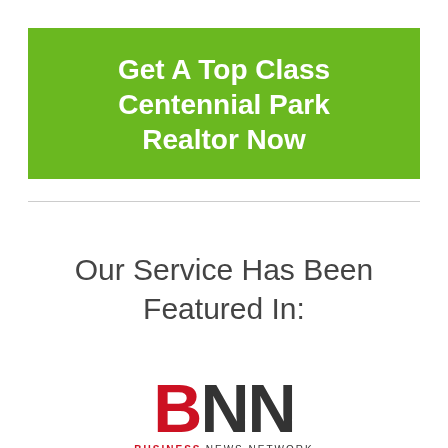Get A Top Class Centennial Park Realtor Now
Our Service Has Been Featured In:
[Figure (logo): BNN Business News Network logo — large bold red B followed by dark grey NN letters, with tagline 'BUSINESS NEWS NETWORK' below in small caps.]